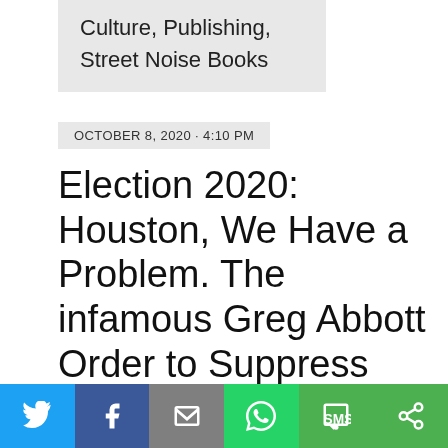Culture, Publishing, Street Noise Books
OCTOBER 8, 2020 · 4:10 PM
Election 2020: Houston, We Have a Problem. The infamous Greg Abbott Order to Suppress the Vote!
[Figure (other): Social sharing toolbar with buttons for Twitter, Facebook, Email, WhatsApp, SMS, and Share]